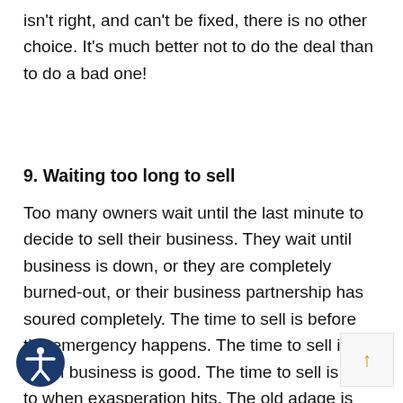isn't right, and can't be fixed, there is no other choice. It's much better not to do the deal than to do a bad one!
9. Waiting too long to sell
Too many owners wait until the last minute to decide to sell their business. They wait until business is down, or they are completely burned-out, or their business partnership has soured completely. The time to sell is before the emergency happens. The time to sell is when business is good. The time to sell is prior to when exasperation hits. The old adage is that a business owner should think about and plan the eventual sale of the business the day